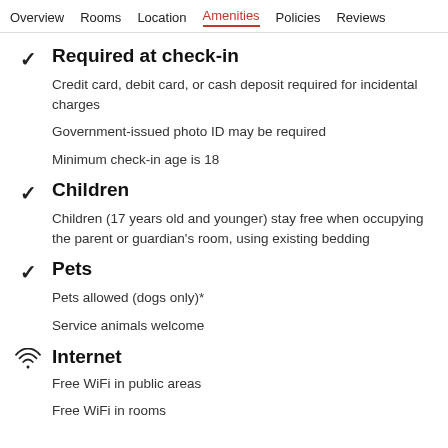Overview  Rooms  Location  Amenities  Policies  Reviews
Required at check-in
Credit card, debit card, or cash deposit required for incidental charges
Government-issued photo ID may be required
Minimum check-in age is 18
Children
Children (17 years old and younger) stay free when occupying the parent or guardian's room, using existing bedding
Pets
Pets allowed (dogs only)*
Service animals welcome
Internet
Free WiFi in public areas
Free WiFi in rooms